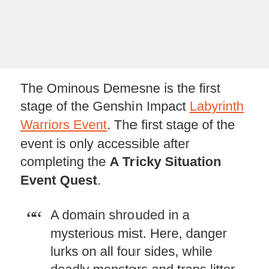The Ominous Demesne is the first stage of the Genshin Impact Labyrinth Warriors Event. The first stage of the event is only accessible after completing the A Tricky Situation Event Quest.
A domain shrouded in a mysterious mist. Here, danger lurks on all four sides, while deadly monsters and traps litter the area. Only valiant and